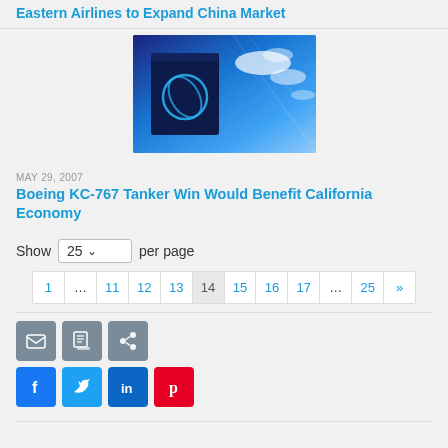Eastern Airlines to Expand China Market
[Figure (photo): Boeing logo on building exterior against blue sky with clouds]
MAY 29, 2007
Boeing KC-767 Tanker Win Would Benefit California Economy
Show 25 per page
| 1 | ... | 11 | 12 | 13 | 14 | 15 | 16 | 17 | ... | 25 | » |
| --- | --- | --- | --- | --- | --- | --- | --- | --- | --- | --- | --- |
[Figure (infographic): Social sharing buttons: email, print, RSS, Facebook, Twitter, LinkedIn, Pinterest]